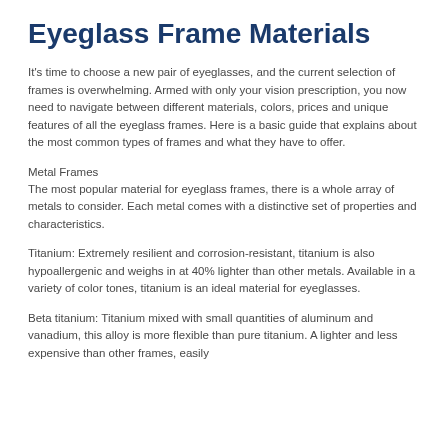Eyeglass Frame Materials
It's time to choose a new pair of eyeglasses, and the current selection of frames is overwhelming. Armed with only your vision prescription, you now need to navigate between different materials, colors, prices and unique features of all the eyeglass frames. Here is a basic guide that explains about the most common types of frames and what they have to offer.
Metal Frames
The most popular material for eyeglass frames, there is a whole array of metals to consider. Each metal comes with a distinctive set of properties and characteristics.
Titanium: Extremely resilient and corrosion-resistant, titanium is also hypoallergenic and weighs in at 40% lighter than other metals. Available in a variety of color tones, titanium is an ideal material for eyeglasses.
Beta titanium: Titanium mixed with small quantities of aluminum and vanadium, this alloy is more flexible than pure titanium. A lighter and less expensive than other frames, easily...